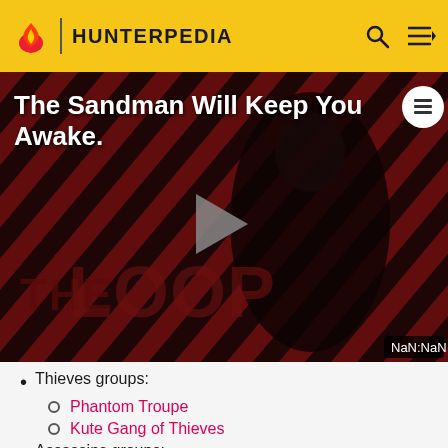HUNTERPEDIA
[Figure (screenshot): Video thumbnail with diagonal red/dark striped background, a dark-clad figure, play button overlay, 'THE LOOP' text watermark, title 'The Sandman Will Keep You Awake.' and NaN:NaN timestamp]
Thieves groups:
Phantom Troupe
Kute Gang of Thieves
Assassins groups:
Freelance Assassins